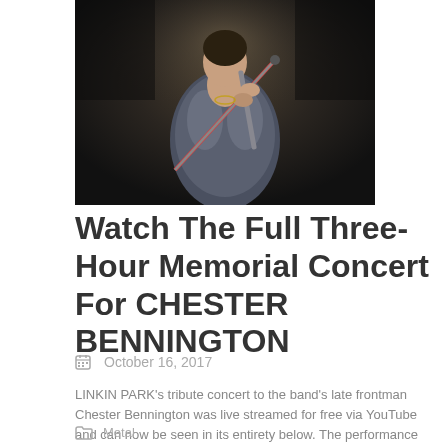[Figure (photo): Concert performer in denim jacket holding microphone stand, dark background]
Watch The Full Three-Hour Memorial Concert For CHESTER BENNINGTON
October 16, 2017
LINKIN PARK's tribute concert to the band's late frontman Chester Bennington was live streamed for free via YouTube and can now be seen in its entirety below. The performance itself took place Friday night (October 27) at the Hollywood Bowl in Los Angeles and saw LINKIN PARK return to the stage for the first time since Bennington took his own life this past [...]
Metal